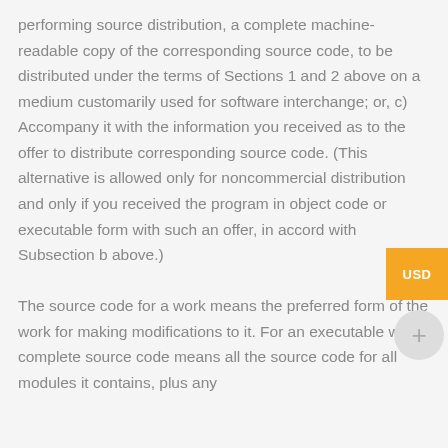performing source distribution, a complete machine-readable copy of the corresponding source code, to be distributed under the terms of Sections 1 and 2 above on a medium customarily used for software interchange; or, c) Accompany it with the information you received as to the offer to distribute corresponding source code. (This alternative is allowed only for noncommercial distribution and only if you received the program in object code or executable form with such an offer, in accord with Subsection b above.)
The source code for a work means the preferred form of the work for making modifications to it. For an executable work, complete source code means all the source code for all modules it contains, plus any